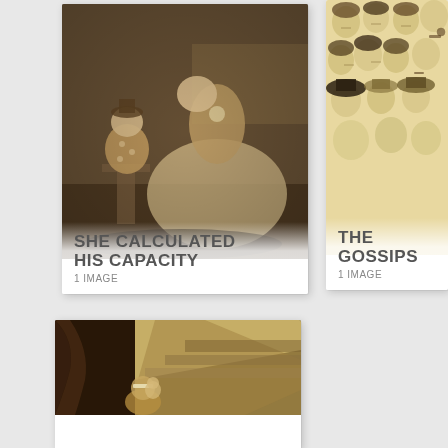[Figure (photo): Vintage sepia photograph card showing a woman in a large period dress leaning over a child sitting on a chair, with overlay text 'SHE CALCULATED HIS CAPACITY / 1 IMAGE']
[Figure (illustration): Vintage illustration card showing a crowd of faces/heads drawn in ink, with overlay text 'THE GOSSIPS / 1 IMAGE']
[Figure (photo): Vintage sepia artwork card showing a figure holding something in a dark cave or rocky setting, partially visible, bottom row card with no overlay text visible]